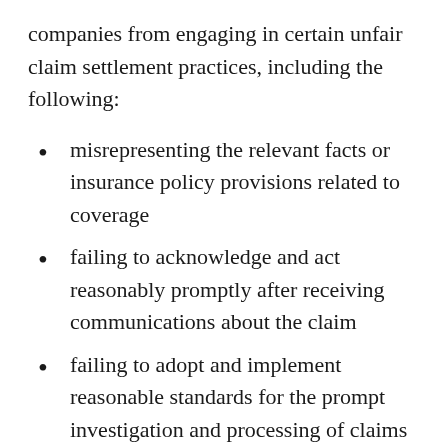companies from engaging in certain unfair claim settlement practices, including the following:
misrepresenting the relevant facts or insurance policy provisions related to coverage
failing to acknowledge and act reasonably promptly after receiving communications about the claim
failing to adopt and implement reasonable standards for the prompt investigation and processing of claims
failing to accept or deny coverage of claims within a reasonable time period after the insured completed and submitted proof of